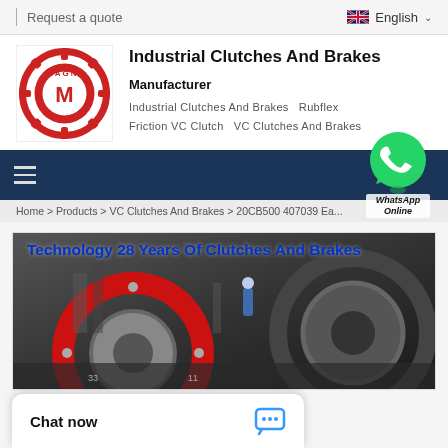Request a quote   English
Industrial Clutches And Brakes
Manufacturer
Industrial Clutches And Brakes   Rubflex   Friction VC Clutch   VC Clutches And Brakes
[Figure (screenshot): Navigation bar with hamburger menu icon and WhatsApp Online bubble]
Home > Products > VC Clutches And Brakes > 20CB500 407039 Ea...
[Figure (photo): Banner showing industrial clutches and brakes machinery with text 'Technology 28 Years Of Clutches And Brakes']
Chat now